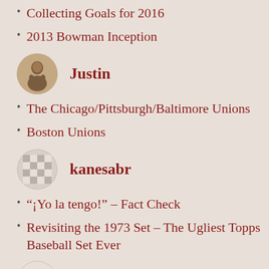Collecting Goals for 2016
2013 Bowman Inception
Justin
The Chicago/Pittsburgh/Baltimore Unions
Boston Unions
kanesabr
“¡Yo la tengo!” – Fact Check
Revisiting the 1973 Set – The Ugliest Topps Baseball Set Ever
kblumenau